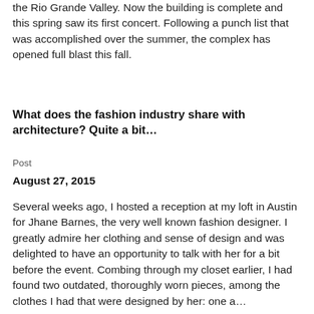the Rio Grande Valley. Now the building is complete and this spring saw its first concert. Following a punch list that was accomplished over the summer, the complex has opened full blast this fall.
What does the fashion industry share with architecture? Quite a bit…
Post
August 27, 2015
Several weeks ago, I hosted a reception at my loft in Austin for Jhane Barnes, the very well known fashion designer. I greatly admire her clothing and sense of design and was delighted to have an opportunity to talk with her for a bit before the event. Combing through my closet earlier, I had found two outdated, thoroughly worn pieces, among the clothes I had that were designed by her: one a…